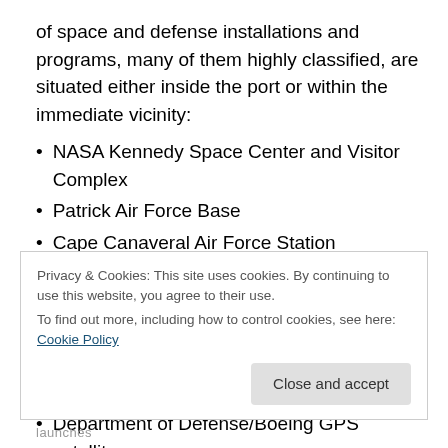of space and defense installations and programs, many of them highly classified, are situated either inside the port or within the immediate vicinity:
NASA Kennedy Space Center and Visitor Complex
Patrick Air Force Base
Cape Canaveral Air Force Station
US Navy Trident submarine base (Trident Turning Basin)
Top secret Air Force space plane
National Reconnaissance Office (NRO) spy satellites
Department of Defense/Boeing GPS satellites
Privacy & Cookies: This site uses cookies. By continuing to use this website, you agree to their use.
To find out more, including how to control cookies, see here: Cookie Policy
Close and accept